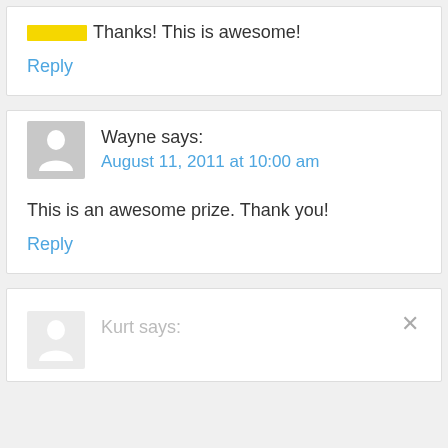Thanks! This is awesome!
Reply
Wayne says:
August 11, 2011 at 10:00 am
This is an awesome prize. Thank you!
Reply
Kurt says: